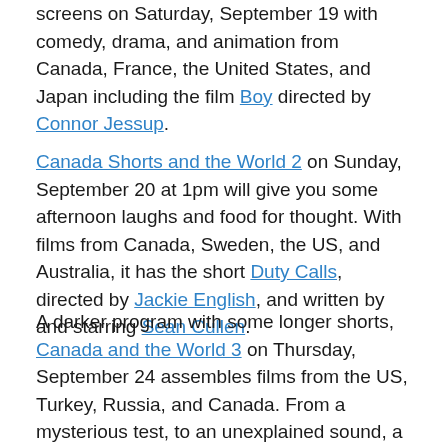screens on Saturday, September 19 with comedy, drama, and animation from Canada, France, the United States, and Japan including the film Boy directed by Connor Jessup.
Canada Shorts and the World 2 on Sunday, September 20 at 1pm will give you some afternoon laughs and food for thought. With films from Canada, Sweden, the US, and Australia, it has the short Duty Calls, directed by Jackie English, and written by and starring Sean Cullen.
A darker program with some longer shorts, Canada and the World 3 on Thursday, September 24 assembles films from the US, Turkey, Russia, and Canada. From a mysterious test, to an unexplained sound, a world without children, an unsolved murder, a contract killer in a convenience store, and a strange grocery store it's a collection of shorts highlighting talent with many different approaches to filmmaking.